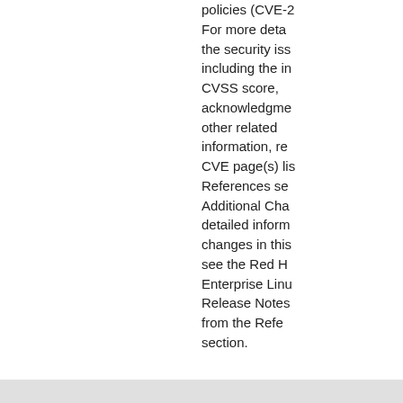policies (CVE-... For more details about the security issues, including the impact, a CVSS score, acknowledgments, and other related information, refer to the CVE page(s) listed in the References section. Additional Changes: For detailed information on changes in this release, see the Red Hat Enterprise Linux 8.6 Release Notes linked from the References section.